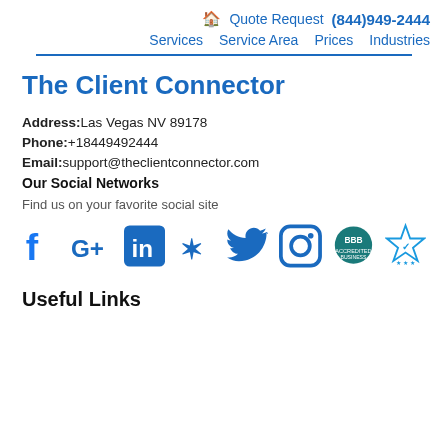🏠 Quote Request (844)949-2444  Services  Service Area  Prices  Industries
The Client Connector
Address:Las Vegas NV 89178
Phone:+18449492444
Email:support@theclientconnector.com
Our Social Networks
Find us on your favorite social site
[Figure (logo): Social media icons: Facebook, Google+, LinkedIn, Yelp, Twitter, Instagram, BBB, and another badge]
Useful Links